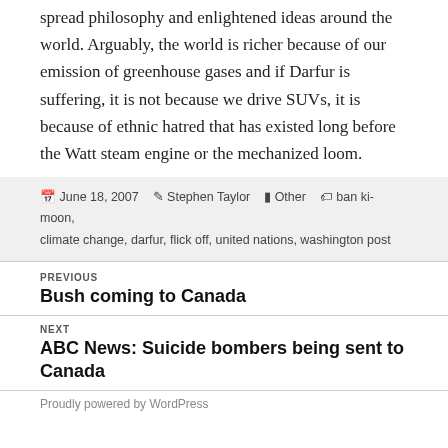spread philosophy and enlightened ideas around the world. Arguably, the world is richer because of our emission of greenhouse gases and if Darfur is suffering, it is not because we drive SUVs, it is because of ethnic hatred that has existed long before the Watt steam engine or the mechanized loom.
June 18, 2007  Stephen Taylor  Other  ban ki-moon, climate change, darfur, flick off, united nations, washington post
PREVIOUS
Bush coming to Canada
NEXT
ABC News: Suicide bombers being sent to Canada
Proudly powered by WordPress